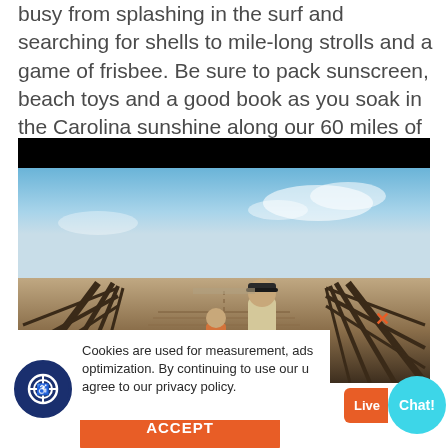busy from splashing in the surf and searching for shells to mile-long strolls and a game of frisbee. Be sure to pack sunscreen, beach toys and a good book as you soak in the Carolina sunshine along our 60 miles of beaches.
[Figure (photo): A man and a young child walking together on a wooden pier boardwalk, viewed from behind. Blue sky with clouds above, wooden railing on the sides.]
Cookies are used for measurement, ads optimization. By continuing to use our u agree to our privacy policy.
Live Chat!